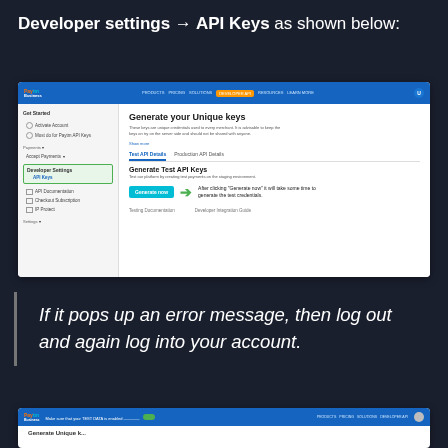Developer settings → API Keys as shown below:
[Figure (screenshot): Paytm Business dashboard screenshot showing 'Generate your Unique keys' page with Test API Details and Production API Details tabs, Generate now button, and a green arrow annotation explaining it will take some time to generate test credentials.]
If it pops up an error message, then log out and again log into your account.
[Figure (screenshot): Paytm Business dashboard screenshot showing 'Make sure that your TEST DATA is enabled' notice with a toggle switch.]